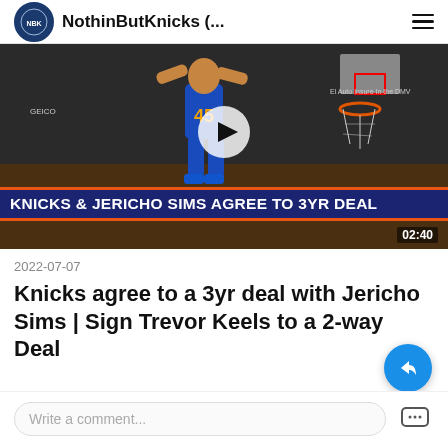NothinButKnicks (...
[Figure (screenshot): Video thumbnail showing a basketball player wearing New York Knicks jersey number 45 dunking near the basket. A banner overlay reads 'KNICKS & JERICHO SIMS AGREE TO 3YR DEAL' and a video duration of 02:40 is shown.]
2022-07-07
Knicks agree to a 3yr deal with Jericho Sims | Sign Trevor Keels to a 2-way Deal